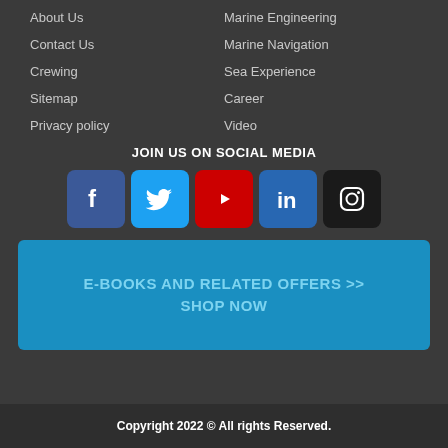About Us
Marine Engineering
Contact Us
Marine Navigation
Crewing
Sea Experience
Sitemap
Career
Privacy policy
Video
JOIN US ON SOCIAL MEDIA
[Figure (infographic): Social media icons: Facebook, Twitter, YouTube, LinkedIn, Instagram]
E-BOOKS AND RELATED OFFERS >> SHOP NOW
Copyright 2022 © All rights Reserved.